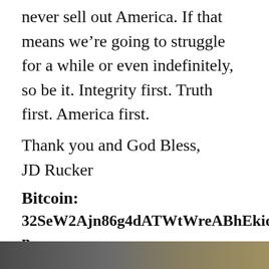never sell out America. If that means we're going to struggle for a while or even indefinitely, so be it. Integrity first. Truth first. America first.
Thank you and God Bless,
JD Rucker
Bitcoin:
32SeW2Ajn86g4dATWtWreABhEkiqxsKUGn
[Figure (photo): Partial image strip at the bottom of the page showing a dark/brown toned photograph]